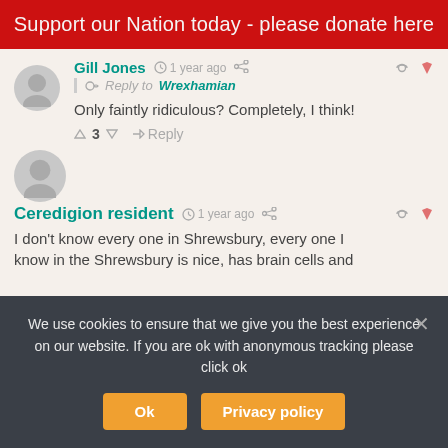Support our Nation today - please donate here
Gill Jones · 1 year ago
Reply to Wrexhamian
Only faintly ridiculous? Completely, I think!
▲ 3 ▼ → Reply
Ceredigion resident · 1 year ago
I don't know every one in Shrewsbury, every one I know in the Shrewsbury is nice, has brain cells and
We use cookies to ensure that we give you the best experience on our website. If you are ok with anonymous tracking please click ok
Ok
Privacy policy